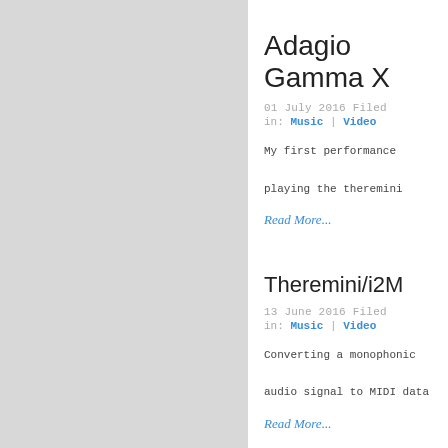Adagio Gamma X
01 July 2016 Filed in: Music | Video
My first performance playing the theremini
Read More...
Theremini/i2M
13 June 2016 Filed in: Music | Video
Converting a monophonic audio signal to MIDI data
Read More...
Alpha